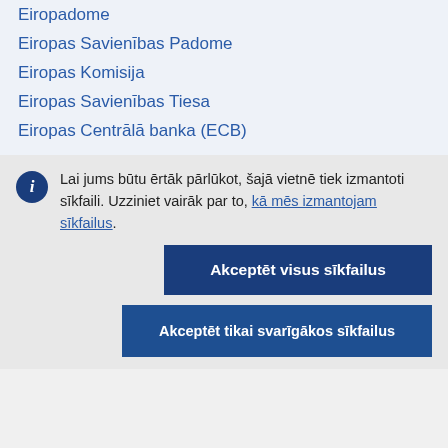Eiropadome
Eiropas Savienības Padome
Eiropas Komisija
Eiropas Savienības Tiesa
Eiropas Centrālā banka (ECB)
Lai jums būtu ērtāk pārlūkot, šajā vietnē tiek izmantoti sīkfaili. Uzziniet vairāk par to, kā mēs izmantojam sīkfailus.
Akceptēt visus sīkfailus
Akceptēt tikai svarīgākos sīkfailus